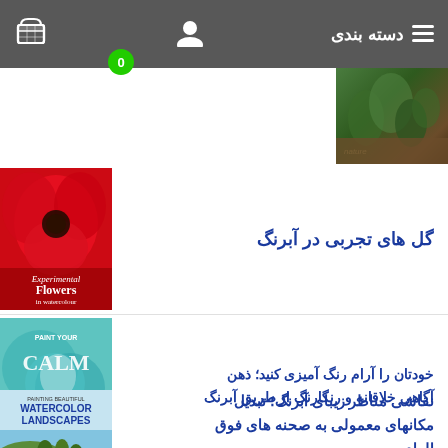دسته بندی  ≡
[Figure (screenshot): Website header with shopping cart icon, user icon, hamburger menu, and text دسته بندی on dark grey background. Green badge with 0 on cart.]
[Figure (photo): Book cover partially visible at top right - green/nature theme]
گل های تجربی در آبرنگ
[Figure (photo): Book cover: Experimental Flowers in Watercolour - red poppy flower]
خودتان را آرام رنگ آمیزی کنید؛ ذهن آگاهی خلاقانه و رنگارنگ از طریق آبرنگ
[Figure (photo): Book cover: Paint Your Calm - teal watercolor abstract]
نقاشی مناظر زیبای آبرنگ؛ تبدیل مکانهای معمولی به صحنه های فوق العاده
[Figure (photo): Book cover: Painting Beautiful Watercolor Landscapes - Italian countryside landscape]